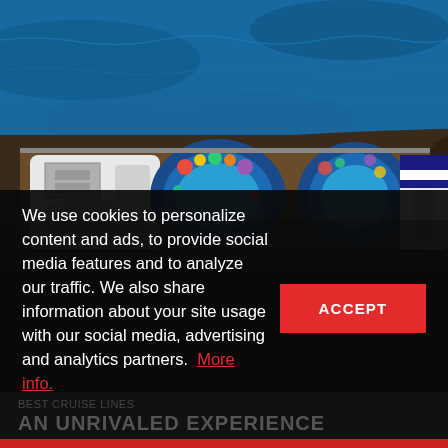[Figure (photo): Aerial top-down view of a large cruise ship deck showing pools, deck structures, and surrounding blue ocean water]
We use cookies to personalize content and ads, to provide social media features and to analyze our traffic. We also share information about your site usage with our social media, advertising and analytics partners. More info.
ACCEPT
AN UNRIVALED EXPERIENCE